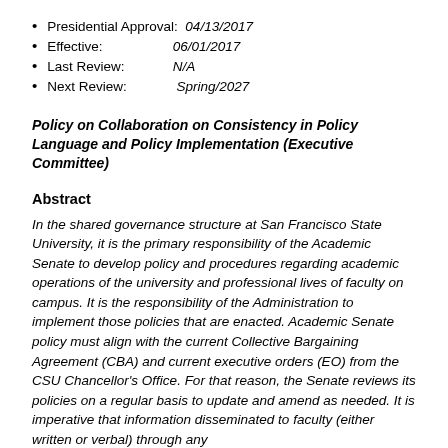Presidential Approval:  04/13/2017
Effective:              06/01/2017
Last Review:            N/A
Next Review:            Spring/2027
Policy on Collaboration on Consistency in Policy Language and Policy Implementation (Executive Committee)
Abstract
In the shared governance structure at San Francisco State University, it is the primary responsibility of the Academic Senate to develop policy and procedures regarding academic operations of the university and professional lives of faculty on campus.  It is the responsibility of the Administration to implement those policies that are enacted.  Academic Senate policy must align with the current Collective Bargaining Agreement (CBA) and current executive orders (EO) from the CSU Chancellor's Office.  For that reason, the Senate reviews its policies on a regular basis to update and amend as needed.  It is imperative that information disseminated to faculty (either written or verbal) through any